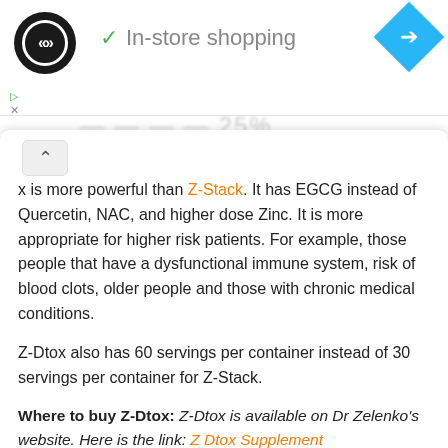[Figure (screenshot): Top navigation bar showing a circular logo with arrows, 'In-store shopping' label with green checkmark, and a blue diamond navigation icon]
x is more powerful than Z-Stack. It has EGCG instead of Quercetin, NAC, and higher dose Zinc. It is more appropriate for higher risk patients. For example, those people that have a dysfunctional immune system, risk of blood clots, older people and those with chronic medical conditions.
Z-Dtox also has 60 servings per container instead of 30 servings per container for Z-Stack.
Where to buy Z-Dtox: Z-Dtox is available on Dr Zelenko's website. Here is the link: Z Dtox Supplement
Note: To get 5% OFF, please use this coupon code: DRFRANCIS